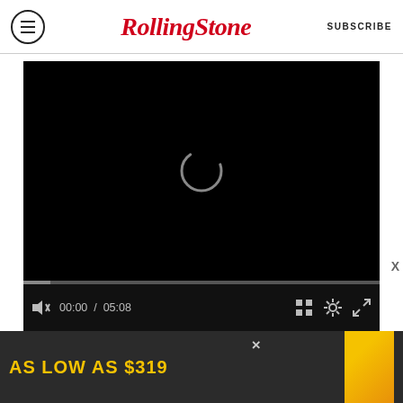RollingStone — SUBSCRIBE
[Figure (screenshot): Video player with black background showing a loading spinner, progress bar at bottom, and controls showing mute icon, time 00:00 / 05:08, grid icon, settings icon, and fullscreen icon]
[Figure (screenshot): Advertisement banner at bottom showing 'AS LOW AS $319' text in bold yellow on dark background with yellow image on right and X close button]